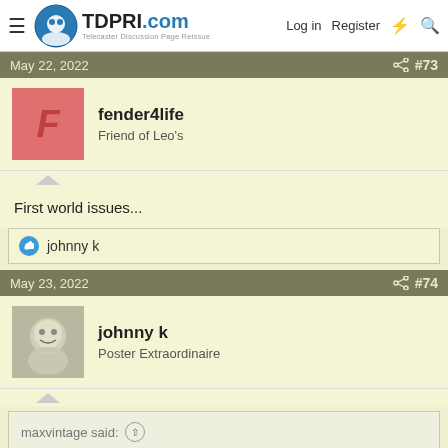TDPRI.com — Telecaster Discussion Page Reissue | Log in | Register
May 22, 2022 #73
fender4life
Friend of Leo's
First world issues...
👍 johnny k
May 23, 2022 #74
johnny k
Poster Extraordinaire
maxvintage said: ↑
People don't know what to say, because there is nothing helpful to say, but you're mad at them for failing to finding the right words to please you when they come to acknowledge the loss?